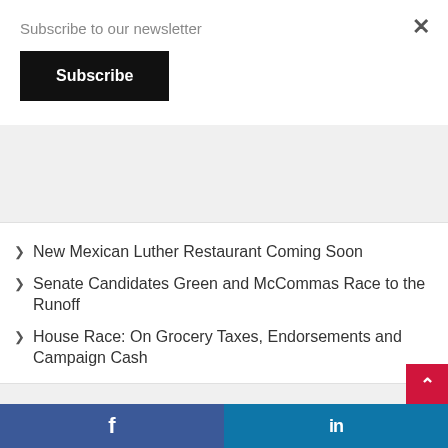Subscribe to our newsletter
Subscribe
New Mexican Luther Restaurant Coming Soon
Senate Candidates Green and McCommas Race to the Runoff
House Race: On Grocery Taxes, Endorsements and Campaign Cash
Luther Pecan Festival 2021
[Figure (photo): Partial image shown inside a rounded dark frame, appears to be a map or outdoor scene with blue and tan tones]
× (close button)
Facebook and LinkedIn social share bar